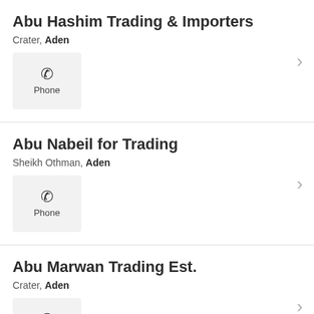Abu Hashim Trading & Importers
Crater, Aden
Phone
Abu Nabeil for Trading
Sheikh Othman, Aden
Phone
Abu Marwan Trading Est.
Crater, Aden
Phone